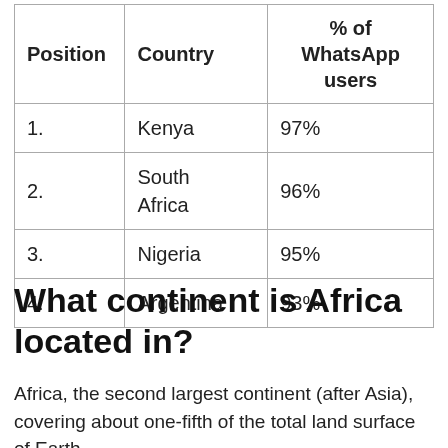| Position | Country | % of WhatsApp users |
| --- | --- | --- |
| 1. | Kenya | 97% |
| 2. | South Africa | 96% |
| 3. | Nigeria | 95% |
| 4. | Argentina | 93% |
What continent is Africa located in?
Africa, the second largest continent (after Asia), covering about one-fifth of the total land surface of Earth.